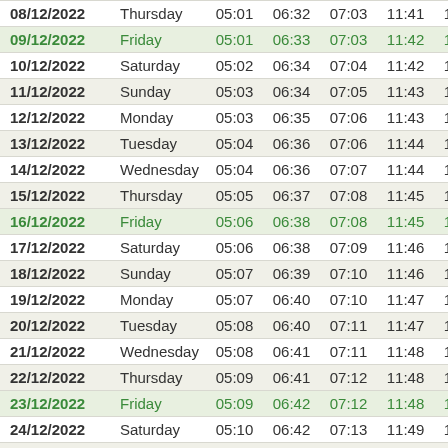| Date | Day | Col3 | Col4 | Col5 | Col6 | Col7 |
| --- | --- | --- | --- | --- | --- | --- |
| 08/12/2022 | Thursday | 05:01 | 06:32 | 07:03 | 11:41 | 1 |
| 09/12/2022 | Friday | 05:01 | 06:33 | 07:03 | 11:42 | 1 |
| 10/12/2022 | Saturday | 05:02 | 06:34 | 07:04 | 11:42 | 1 |
| 11/12/2022 | Sunday | 05:03 | 06:34 | 07:05 | 11:43 | 1 |
| 12/12/2022 | Monday | 05:03 | 06:35 | 07:06 | 11:43 | 1 |
| 13/12/2022 | Tuesday | 05:04 | 06:36 | 07:06 | 11:44 | 1 |
| 14/12/2022 | Wednesday | 05:04 | 06:36 | 07:07 | 11:44 | 1 |
| 15/12/2022 | Thursday | 05:05 | 06:37 | 07:08 | 11:45 | 1 |
| 16/12/2022 | Friday | 05:06 | 06:38 | 07:08 | 11:45 | 1 |
| 17/12/2022 | Saturday | 05:06 | 06:38 | 07:09 | 11:46 | 1 |
| 18/12/2022 | Sunday | 05:07 | 06:39 | 07:10 | 11:46 | 1 |
| 19/12/2022 | Monday | 05:07 | 06:40 | 07:10 | 11:47 | 1 |
| 20/12/2022 | Tuesday | 05:08 | 06:40 | 07:11 | 11:47 | 1 |
| 21/12/2022 | Wednesday | 05:08 | 06:41 | 07:11 | 11:48 | 1 |
| 22/12/2022 | Thursday | 05:09 | 06:41 | 07:12 | 11:48 | 1 |
| 23/12/2022 | Friday | 05:09 | 06:42 | 07:12 | 11:48 | 1 |
| 24/12/2022 | Saturday | 05:10 | 06:42 | 07:13 | 11:49 | 1 |
| 25/12/2022 | Sunday | 05:10 | 06:43 | 07:13 | 11:49 | 1 |